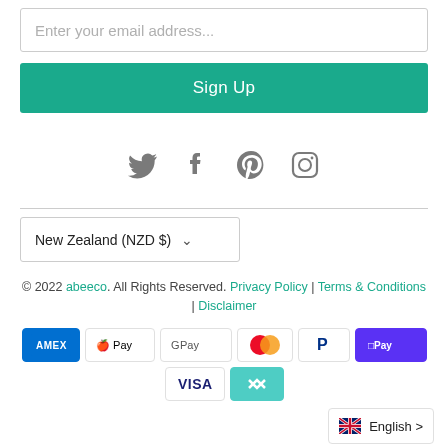Enter your email address...
Sign Up
[Figure (other): Social media icons: Twitter, Facebook, Pinterest, Instagram]
New Zealand (NZD $)
© 2022 abeeco. All Rights Reserved. Privacy Policy | Terms & Conditions | Disclaimer
[Figure (other): Payment method logos: AMEX, Apple Pay, Google Pay, Mastercard, PayPal, Shopify Pay, Visa, Afterpay]
English